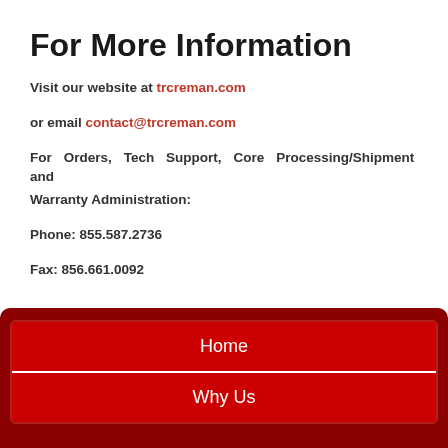For More Information
Visit our website at trcreman.com
or email contact@trcreman.com
For Orders, Tech Support, Core Processing/Shipment and Warranty Administration:
Phone: 855.587.2736
Fax: 856.661.0092
Home
Why Us